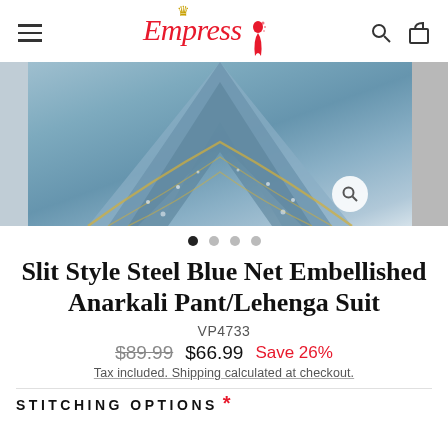Empress — navigation header with hamburger menu, logo, search and cart icons
[Figure (photo): Product photo of a steel blue net embellished lehenga/anarkali suit spread out, with a magnifying glass zoom button visible. Partial image peek on right side. Carousel dot indicators below.]
Slit Style Steel Blue Net Embellished Anarkali Pant/Lehenga Suit
VP4733
$89.99  $66.99  Save 26%
Tax included. Shipping calculated at checkout.
STITCHING OPTIONS *